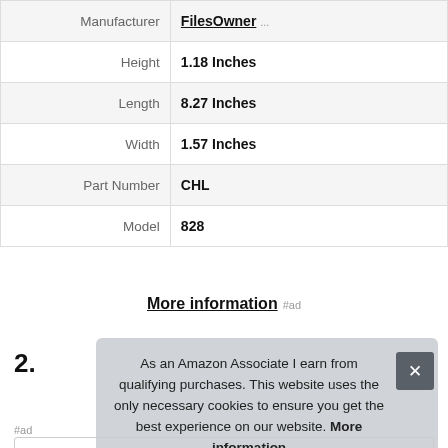| Property | Value |
| --- | --- |
| Manufacturer | FilesOwner ... |
| Height | 1.18 Inches |
| Length | 8.27 Inches |
| Width | 1.57 Inches |
| Part Number | CHL |
| Model | 828 |
More information #ad
2.
As an Amazon Associate I earn from qualifying purchases. This website uses the only necessary cookies to ensure you get the best experience on our website. More information